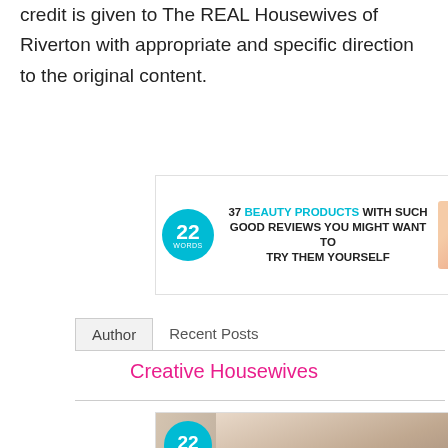credit is given to The REAL Housewives of Riverton with appropriate and specific direction to the original content.
[Figure (infographic): Advertisement banner: '22 Words' logo (teal circle) with text '37 BEAUTY PRODUCTS WITH SUCH GOOD REVIEWS YOU MIGHT WANT TO TRY THEM YOURSELF' and a product image on the right, with a close (X) button.]
Author   Recent Posts
Creative Housewives
[Figure (photo): Advertisement photo showing a woman and a child cooking/baking together, with a '22 Words' teal circle logo overlay in the top-left and a close (X) button in the top-right.]